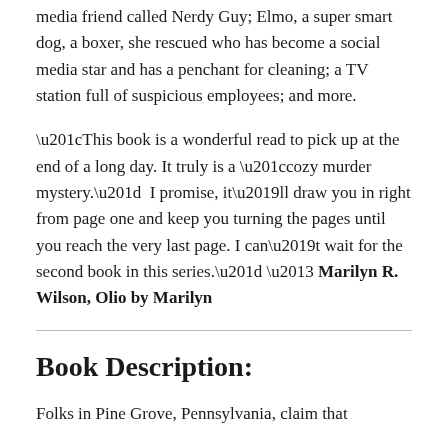media friend called Nerdy Guy; Elmo, a super smart dog, a boxer, she rescued who has become a social media star and has a penchant for cleaning; a TV station full of suspicious employees; and more.
“This book is a wonderful read to pick up at the end of a long day. It truly is a “cozy murder mystery.”  I promise, it’ll draw you in right from page one and keep you turning the pages until you reach the very last page. I can’t wait for the second book in this series.” – Marilyn R. Wilson, Olio by Marilyn
Book Description:
Folks in Pine Grove, Pennsylvania, claim that